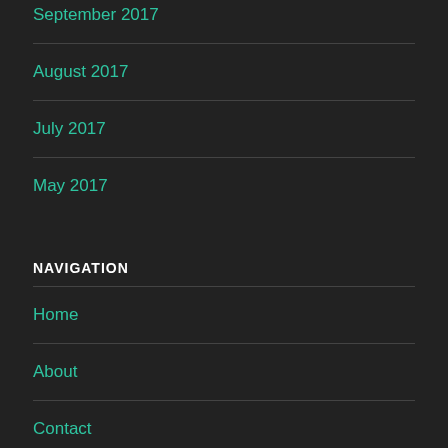September 2017
August 2017
July 2017
May 2017
NAVIGATION
Home
About
Contact